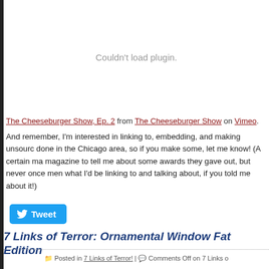[Figure (other): Embedded video plugin area showing 'Couldn't load plugin.' message]
The Cheeseburger Show, Ep. 2 from The Cheeseburger Show on Vimeo.
And remember, I'm interested in linking to, embedding, and making unsourc done in the Chicago area, so if you make some, let me know! (A certain ma magazine to tell me about some awards they gave out, but never once men what I'd be linking to and talking about, if you told me about it!)
Tweet
7 Links of Terror: Ornamental Window Fat Edition
Posted in 7 Links of Terror! | Comments Off on 7 Links o